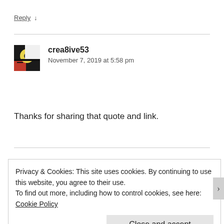Reply ↓
[Figure (illustration): Avatar image of user crea8ive53 — abstract circular artwork with yellow circle, red, black and white geometric shapes]
crea8ive53
November 7, 2019 at 5:58 pm
Thanks for sharing that quote and link.
Privacy & Cookies: This site uses cookies. By continuing to use this website, you agree to their use.
To find out more, including how to control cookies, see here: Cookie Policy
Close and accept